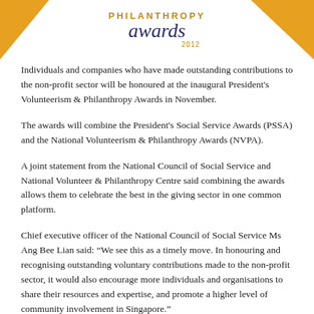[Figure (logo): President's Volunteerism & Philanthropy Awards 2012 logo with orange triangular corner accents and stylized script text]
Individuals and companies who have made outstanding contributions to the non-profit sector will be honoured at the inaugural President's Volunteerism & Philanthropy Awards in November.
The awards will combine the President's Social Service Awards (PSSA) and the National Volunteerism & Philanthropy Awards (NVPA).
A joint statement from the National Council of Social Service and National Volunteer & Philanthropy Centre said combining the awards allows them to celebrate the best in the giving sector in one common platform.
Chief executive officer of the National Council of Social Service Ms Ang Bee Lian said: “We see this as a timely move. In honouring and recognising outstanding voluntary contributions made to the non-profit sector, it would also encourage more individuals and organisations to share their resources and expertise, and promote a higher level of community involvement in Singapore.”